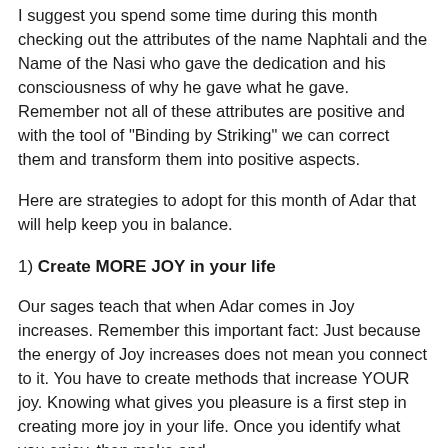I suggest you spend some time during this month checking out the attributes of the name Naphtali and the Name of the Nasi who gave the dedication and his consciousness of why he gave what he gave. Remember not all of these attributes are positive and with the tool of "Binding by Striking" we can correct them and transform them into positive aspects.
Here are strategies to adopt for this month of Adar that will help keep you in balance.
1) Create MORE JOY in your life
Our sages teach that when Adar comes in Joy increases. Remember this important fact: Just because the energy of Joy increases does not mean you connect to it. You have to create methods that increase YOUR joy. Knowing what gives you pleasure is a first step in creating more joy in your life. Once you identify what you enjoy, then make and